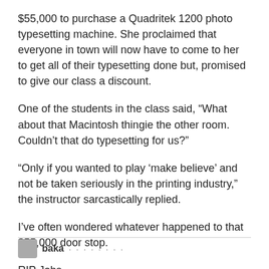$55,000 to purchase a Quadritek 1200 photo typesetting machine. She proclaimed that everyone in town will now have to come to her to get all of their typesetting done but, promised to give our class a discount.
One of the students in the class said, “What about that Macintosh thingie the other room. Couldn’t that do typesetting for us?”
“Only if you wanted to play ‘make believe’ and not be taken seriously in the printing industry,” the instructor sarcastically replied.
I’ve often wondered whatever happened to that $55,000 door stop.
RIP Jobs.
baka ...